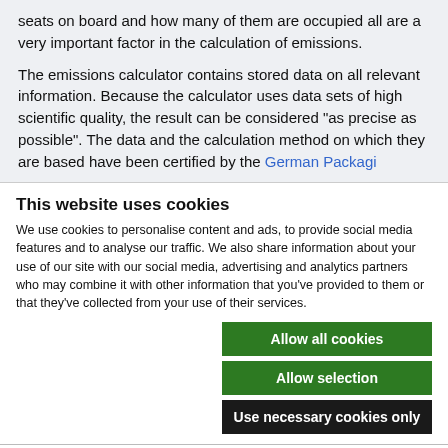seats on board and how many of them are occupied all are a very important factor in the calculation of emissions.
The emissions calculator contains stored data on all relevant information. Because the calculator uses data sets of high scientific quality, the result can be considered "as precise as possible". The data and the calculation method on which they are based have been certified by the German Packaging
This website uses cookies
We use cookies to personalise content and ads, to provide social media features and to analyse our traffic. We also share information about your use of our site with our social media, advertising and analytics partners who may combine it with other information that you've provided to them or that they've collected from your use of their services.
Allow all cookies
Allow selection
Use necessary cookies only
Necessary   Preferences   Statistics   Marketing   Show details